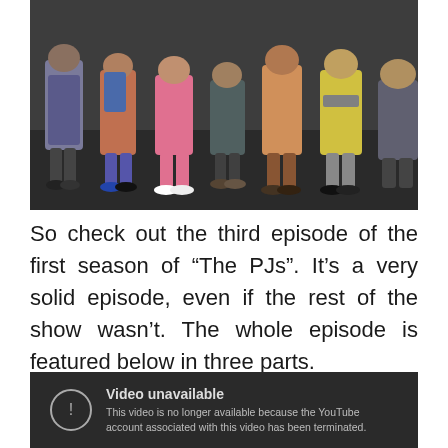[Figure (photo): Claymation/stop-motion animated figures standing together, viewed from the waist down showing various colored clothing and shoes on a dark ground surface.]
So check out the third episode of the first season of “The PJs”. It’s a very solid episode, even if the rest of the show wasn’t. The whole episode is featured below in three parts.
[Figure (screenshot): YouTube video unavailable error screen with dark background. Shows a circle with exclamation mark icon, title 'Video unavailable', and message 'This video is no longer available because the YouTube account associated with this video has been terminated.']